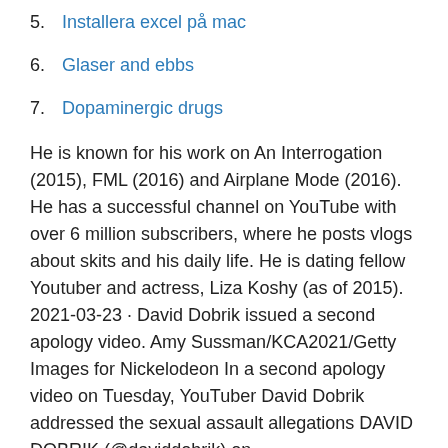5. Installera excel på mac
6. Glaser and ebbs
7. Dopaminergic drugs
He is known for his work on An Interrogation (2015), FML (2016) and Airplane Mode (2016). He has a successful channel on YouTube with over 6 million subscribers, where he posts vlogs about skits and his daily life. He is dating fellow Youtuber and actress, Liza Koshy (as of 2015). 2021-03-23 · David Dobrik issued a second apology video. Amy Sussman/KCA2021/Getty Images for Nickelodeon In a second apology video on Tuesday, YouTuber David Dobrik addressed the sexual assault allegations DAVID DOBRIK (@daviddobrik) on